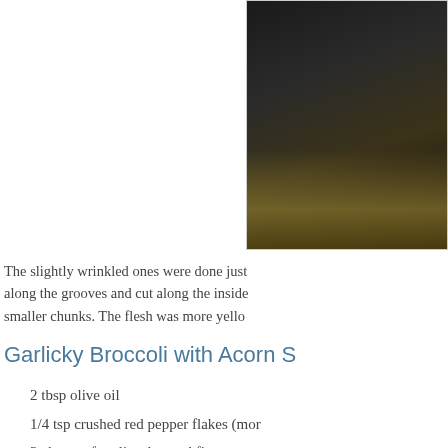[Figure (photo): Partial photo of what appears to be a dark cooking pan or skillet, positioned in the upper right corner of the page]
The slightly wrinkled ones were done just along the grooves and cut along the inside smaller chunks. The flesh was more yello
Garlicky Broccoli with Acorn S
2 tbsp olive oil
1/4 tsp crushed red pepper flakes (mor
3 cloves of garlic, chopped fine
4 cups of broccoli, largish florets
2-3 cups of acorn squash, cooked and c
1/3 cup water
Fresh ground black peppercorn
Salt to taste